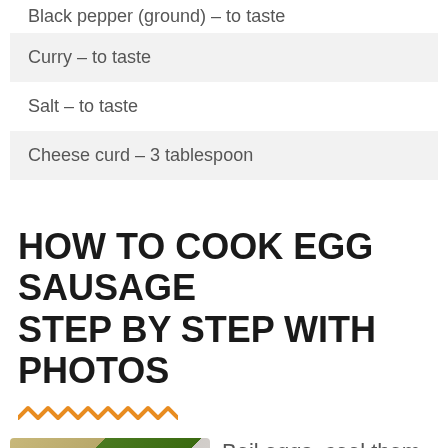Black pepper (ground) – to taste
Curry – to taste
Salt – to taste
Cheese curd – 3 tablespoon
HOW TO COOK EGG SAUSAGE STEP BY STEP WITH PHOTOS
[Figure (photo): Diced egg whites and other ingredients in a green bowl on a yellow background]
Boil eggs, cool them. Dice egg whites and beat egg yolks with a